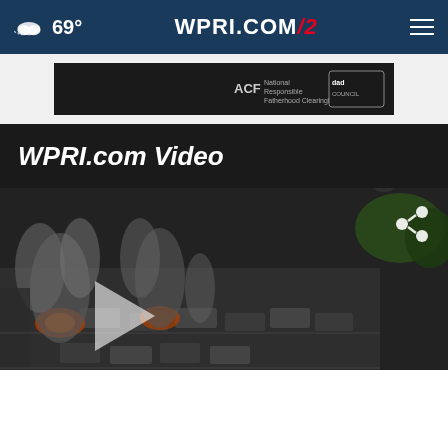69° WPRI.COM/2 [navigation menu]
[Figure (screenshot): Advertisement banner showing ACF National Responsible Fatherhood Clearinghouse and DadCouncil logos on dark background]
WPRI.com Video
[Figure (screenshot): Aerial video thumbnail showing smoke and fire at what appears to be a parking lot or industrial area, with a play button overlay and share icon. Bottom shows a UNICEF advertisement overlay with children in colorful hats and a close button.]
73° 11:02 wpri.com